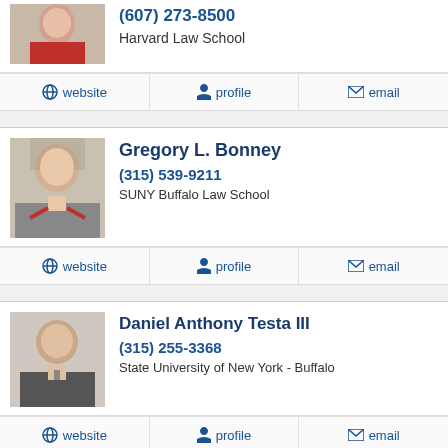[Figure (photo): Partial photo of a woman with red blazer, cropped at top]
(607) 273-8500
Harvard Law School
website  profile  email
Gregory L. Bonney
[Figure (photo): Photo of a man with glasses and red tie in a suit]
(315) 539-9211
SUNY Buffalo Law School
website  profile  email
Daniel Anthony Testa III
[Figure (photo): Photo of a man in a dark suit and tie]
(315) 255-3368
State University of New York - Buffalo
website  profile  email